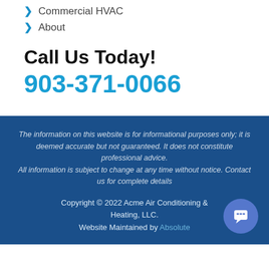Commercial HVAC
About
Call Us Today!
903-371-0066
The information on this website is for informational purposes only; it is deemed accurate but not guaranteed. It does not constitute professional advice. All information is subject to change at any time without notice. Contact us for complete details
Copyright © 2022 Acme Air Conditioning & Heating, LLC. Website Maintained by Absolute